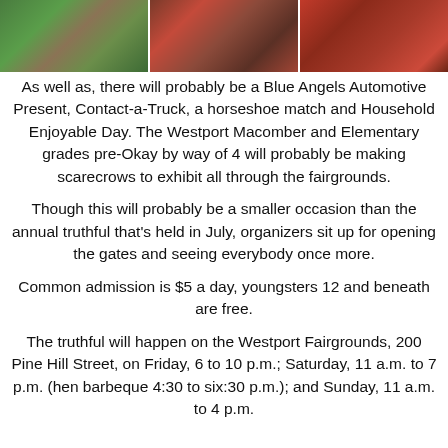[Figure (photo): Three side-by-side photos showing farm/agricultural equipment and people at a fairgrounds event. Left image shows green farm equipment, center image shows people with red equipment, right image shows red machinery.]
As well as, there will probably be a Blue Angels Automotive Present, Contact-a-Truck, a horseshoe match and Household Enjoyable Day. The Westport Macomber and Elementary grades pre-Okay by way of 4 will probably be making scarecrows to exhibit all through the fairgrounds.
Though this will probably be a smaller occasion than the annual truthful that's held in July, organizers sit up for opening the gates and seeing everybody once more.
Common admission is $5 a day, youngsters 12 and beneath are free.
The truthful will happen on the Westport Fairgrounds, 200 Pine Hill Street, on Friday, 6 to 10 p.m.; Saturday, 11 a.m. to 7 p.m. (hen barbeque 4:30 to six:30 p.m.); and Sunday, 11 a.m. to 4 p.m.